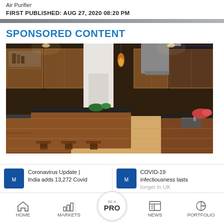Air Purifier
FIRST PUBLISHED: AUG 27, 2020 08:20 PM
SPONSORED CONTENT
[Figure (photo): Interior photo of a large modern kitchen with wooden cabinetry, dark countertops, a large kitchen island with bar stools, pendant lighting, and stainless steel appliances.]
Coronavirus Update | India adds 13,272 Covid
COVID-19 infectiousness lasts longer in UK
HOME  MARKETS  BE A PRO  NEWS  PORTFOLIO